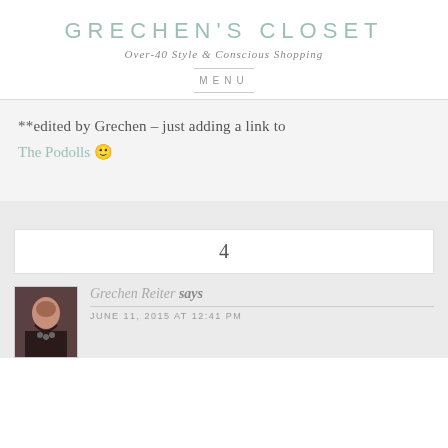GRECHEN'S CLOSET
Over-40 Style & Conscious Shopping
MENU
**edited by Grechen – just adding a link to
The Podolls 🙂
4
[Figure (photo): Small avatar photo of Grechen Reiter, a woman with brown hair wearing a dark top and necklace]
Grechen Reiter says
JUNE 11, 2015 AT 12:41 PM